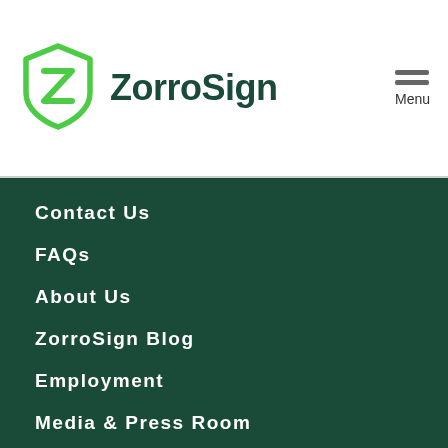[Figure (logo): ZorroSign logo: green shield with Z letterform and the text ZorroSign in dark green]
Contact Us
FAQs
About Us
ZorroSign Blog
Employment
Media & Press Room
FACEBOOK
INSTAGRAM
LINKEDIN